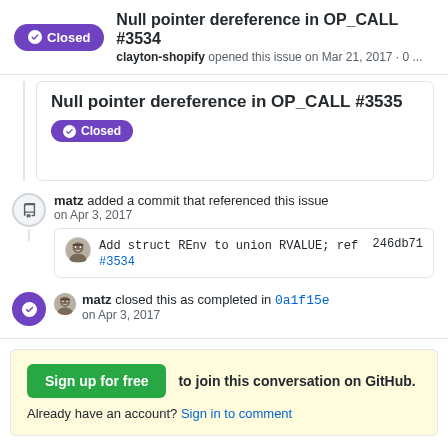Closed  Null pointer dereference in OP_CALL #3534  clayton-shopify opened this issue on Mar 21, 2017 · 0 ...
Null pointer dereference in OP_CALL #3535
Closed
matz added a commit that referenced this issue on Apr 3, 2017
Add struct REnv to union RVALUE; ref  246db71 #3534
matz closed this as completed in 0a1f15e on Apr 3, 2017
Sign up for free  to join this conversation on GitHub. Already have an account? Sign in to comment